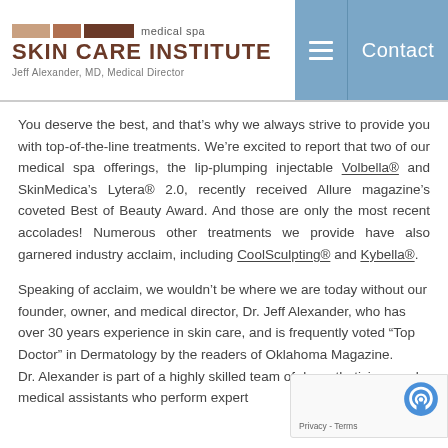medical spa SKIN CARE INSTITUTE Jeff Alexander, MD, Medical Director | Contact
You deserve the best, and that’s why we always strive to provide you with top-of-the-line treatments. We’re excited to report that two of our medical spa offerings, the lip-plumping injectable Volbella® and SkinMedica’s Lytera® 2.0, recently received Allure magazine’s coveted Best of Beauty Award. And those are only the most recent accolades! Numerous other treatments we provide have also garnered industry acclaim, including CoolSculpting® and Kybella®.
Speaking of acclaim, we wouldn’t be where we are today without our founder, owner, and medical director, Dr. Jeff Alexander, who has over 30 years experience in skin care, and is frequently voted “Top Doctor” in Dermatology by the readers of Oklahoma Magazine. Dr. Alexander is part of a highly skilled team of de... aestheticians and medical assistants who perform expert